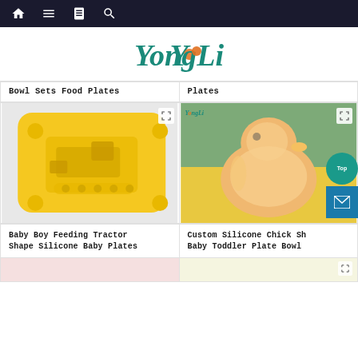[Figure (screenshot): Dark navigation bar with home, menu, book, and search icons]
[Figure (logo): YongLi brand logo in teal cursive font with orange dot on the 'o']
Bowl Sets Food Plates
Plates
[Figure (photo): Yellow silicone baby plate in tractor/bulldozer shape]
Baby Boy Feeding Tractor Shape Silicone Baby Plates
[Figure (photo): Orange/peach silicone chick-shaped baby toddler plate bowl with YongLi watermark, on teal and yellow background]
Custom Silicone Chick Shape Baby Toddler Plate Bowl